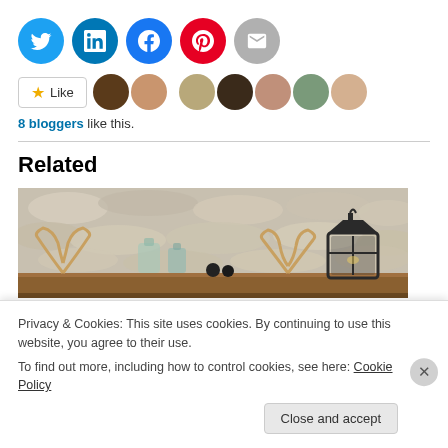[Figure (other): Row of social media share buttons: Twitter (blue bird), LinkedIn (blue), Facebook (blue), Pinterest (red), Email (grey envelope)]
[Figure (other): Like button with star icon, followed by a strip of 8 blogger avatar photos]
8 bloggers like this.
Related
[Figure (photo): Photo of a fireplace mantel with glass bottles, antlers, black sphere decorations, and a black lantern against a stone wall background]
Privacy & Cookies: This site uses cookies. By continuing to use this website, you agree to their use.
To find out more, including how to control cookies, see here: Cookie Policy
Close and accept